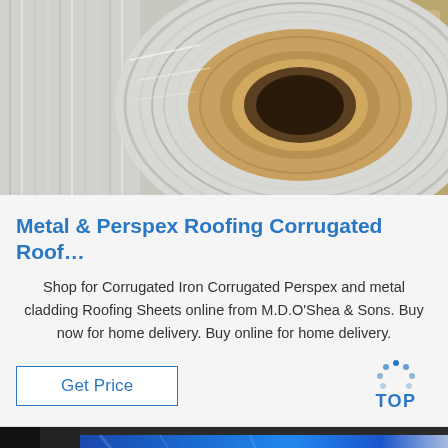[Figure (photo): Close-up photo of a large roll/coil of metal roofing sheet material, silvery metallic surface with circular wound layers, placed on a warehouse floor]
Metal & Perspex Roofing Corrugated Roof…
Shop for Corrugated Iron Corrugated Perspex and metal cladding Roofing Sheets online from M.D.O'Shea & Sons. Buy now for home delivery. Buy online for home delivery.
[Figure (photo): Partial photo at bottom showing blue tarpaulin or roofing sheet material with dark background]